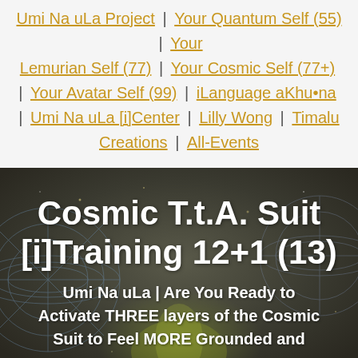Umi Na uLa Project | Your Quantum Self (55) | Your Lemurian Self (77) | Your Cosmic Self (77+) | Your Avatar Self (99) | iLanguage aKhu•na | Umi Na uLa [i]Center | Lilly Wong | Timalu Creations | All-Events
Cosmic T.t.A. Suit [i]Training 12+1 (13)
Umi Na uLa | Are You Ready to Activate THREE layers of the Cosmic Suit to Feel MORE Grounded and